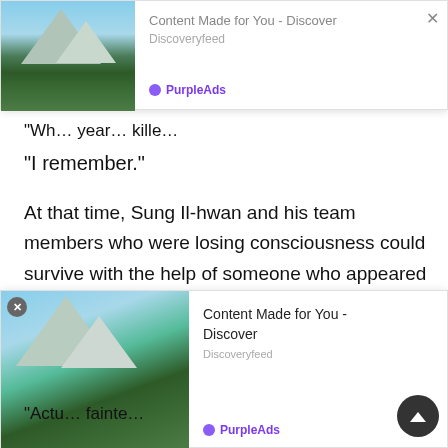[Figure (screenshot): Top ad banner overlay showing mountain landscape image on the left, with 'Content Made for You - Discover' text, 'Discoveryfeed' source, close X button, and PurpleAds branding on the right.]
“Wh… year… kille…
“I remember.”
At that time, Sung Il-hwan and his team members who were losing consciousness could survive with the help of someone who appeared to be a lie.
Some of the people who questioned the isolated firefighters hid their footsteps as if they were seeing firefi…
“Actu… fainte…
[Figure (screenshot): Bottom ad banner overlay showing mountain landscape image on the left, with 'Content Made for You - Discover' text, 'Discoveryfeed' source, close X button, PurpleAds branding, and scroll-to-top button.]